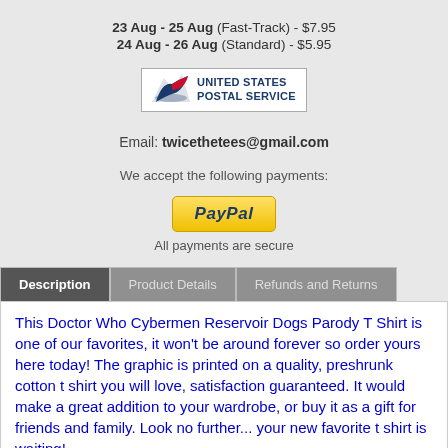23 Aug - 25 Aug (Fast-Track) - $7.95
24 Aug - 26 Aug (Standard) - $5.95
[Figure (logo): United States Postal Service logo with eagle emblem and USPS text]
Email: twicethetees@gmail.com
We accept the following payments:
[Figure (logo): PayPal payment button with gold/yellow gradient background]
All payments are secure
This Doctor Who Cybermen Reservoir Dogs Parody T Shirt is one of our favorites, it won't be around forever so order yours here today! The graphic is printed on a quality, preshrunk cotton t shirt you will love, satisfaction guaranteed. It would make a great addition to your wardrobe, or buy it as a gift for friends and family. Look no further... your new favorite t shirt is waiting!